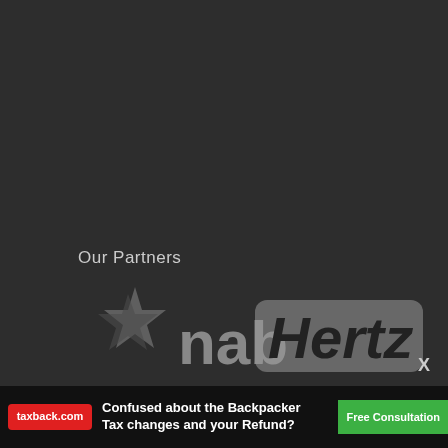Our Partners
[Figure (logo): NAB (National Australia Bank) logo with star icon in grey on dark background, and Hertz logo in grey rounded rectangle on dark background]
X
[Figure (infographic): taxback.com advertisement banner: red taxback.com badge, bold white text 'Confused about the Backpacker Tax changes and your Refund?', green 'Free Consultation' button, person image on right]